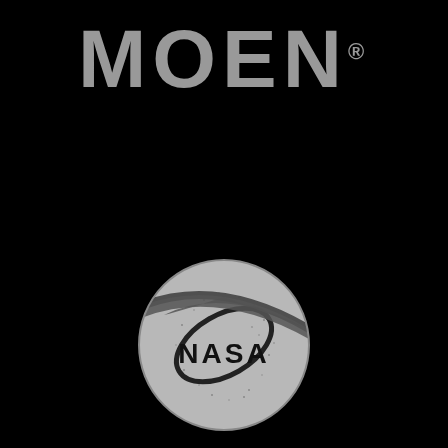[Figure (logo): MOEN logo in large bold gray letters with registered trademark symbol on black background]
[Figure (logo): NASA meatball logo in grayscale on black background, showing the classic circular NASA insignia with sphere, text, orbital element, and chevron]